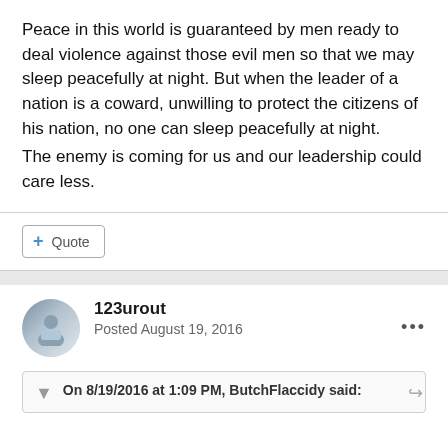Peace in this world is guaranteed by men ready to deal violence against those evil men so that we may sleep peacefully at night. But when the leader of a nation is a coward, unwilling to protect the citizens of his nation, no one can sleep peacefully at night. The enemy is coming for us and our leadership could care less.
123urout
Posted August 19, 2016
On 8/19/2016 at 1:09 PM, ButchFlaccidy said: